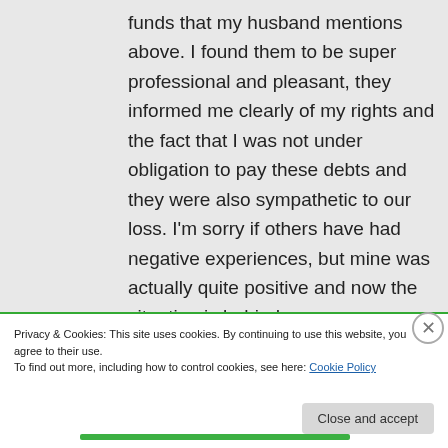funds that my husband mentions above. I found them to be super professional and pleasant, they informed me clearly of my rights and the fact that I was not under obligation to pay these debts and they were also sympathetic to our loss. I'm sorry if others have had negative experiences, but mine was actually quite positive and now the situation is behind us.
Privacy & Cookies: This site uses cookies. By continuing to use this website, you agree to their use.
To find out more, including how to control cookies, see here: Cookie Policy